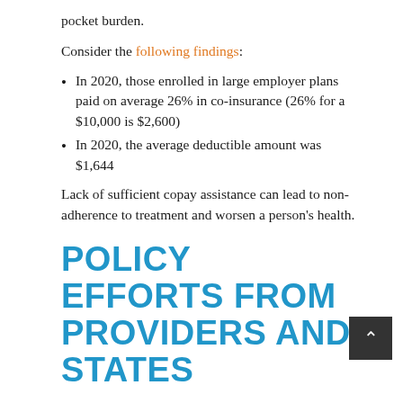pocket burden.
Consider the following findings:
In 2020, those enrolled in large employer plans paid on average 26% in co-insurance (26% for a $10,000 is $2,600)
In 2020, the average deductible amount was $1,644
Lack of sufficient copay assistance can lead to non-adherence to treatment and worsen a person's health.
POLICY EFFORTS FROM PROVIDERS AND STATES
In a policy brief released last year, the American Academy of Clinical Oncology (ASCO) recommended